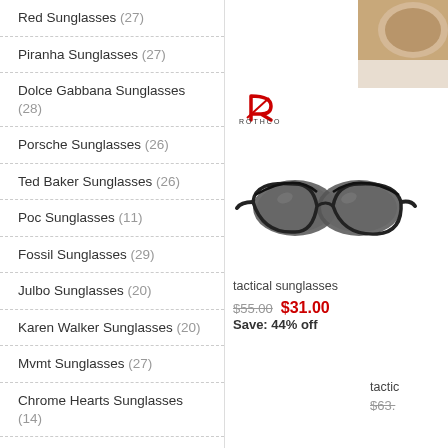Red Sunglasses (27)
Piranha Sunglasses (27)
Dolce Gabbana Sunglasses (28)
Porsche Sunglasses (26)
Ted Baker Sunglasses (26)
Poc Sunglasses (11)
Fossil Sunglasses (29)
Julbo Sunglasses (20)
Karen Walker Sunglasses (20)
Mvmt Sunglasses (27)
Chrome Hearts Sunglasses (14)
Steampunk Sunglasses (14)
Clear Sunglasses (24)
Tom Ford Sunglasses Women (21)
Best Polarized Sunglasses (9)
Oval Sunglasses (21)
[Figure (photo): Partial tan-colored product (sunglasses) visible at top right corner]
[Figure (logo): Rothco brand logo - stylized R with brand name]
[Figure (photo): Tactical sunglasses - black wraparound sport sunglasses with smoked lenses]
tactical sunglasses
$55.00  $31.00  Save: 44% off
tactic...
$63...